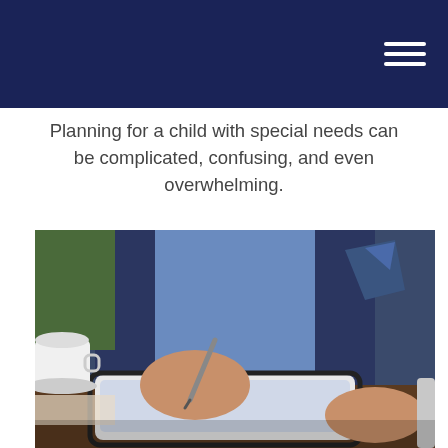Planning for a child with special needs can be complicated, confusing, and even overwhelming.
[Figure (photo): A person in a dark navy suit writing on a tablet with a stylus, seated at a table with a coffee cup. The image suggests financial planning or professional advisory services.]